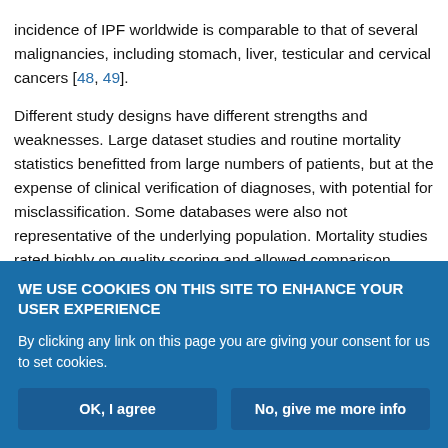incidence of IPF worldwide is comparable to that of several malignancies, including stomach, liver, testicular and cervical cancers [48, 49].
Different study designs have different strengths and weaknesses. Large dataset studies and routine mortality statistics benefitted from large numbers of patients, but at the expense of clinical verification of diagnoses, with potential for misclassification. Some databases were also not representative of the underlying population. Mortality studies rated highly on quality scoring and allowed comparison across countries, but a major limitation was that IPF might not be the
WE USE COOKIES ON THIS SITE TO ENHANCE YOUR USER EXPERIENCE
By clicking any link on this page you are giving your consent for us to set cookies.